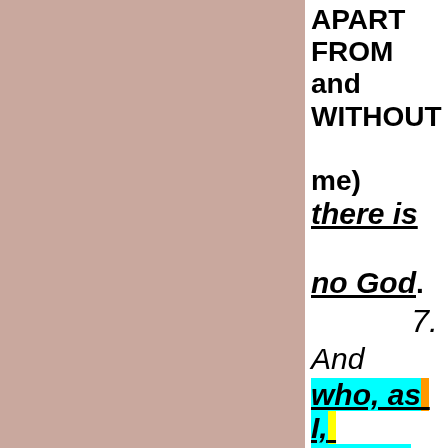[Figure (illustration): Large dusty rose / mauve colored rectangular panel occupying the left two-thirds of the page]
APART FROM and WITHOUT me) there is no God. 7. And who, as I, SHALL CALL, and